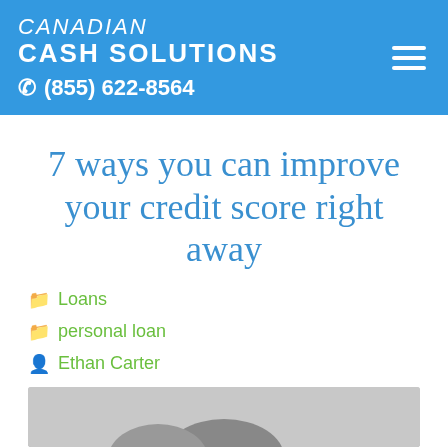CANADIAN CASH SOLUTIONS ☎ (855) 622-8564
7 ways you can improve your credit score right away
Loans
personal loan
Ethan Carter
[Figure (photo): Partial image of a person, cut off at page bottom]